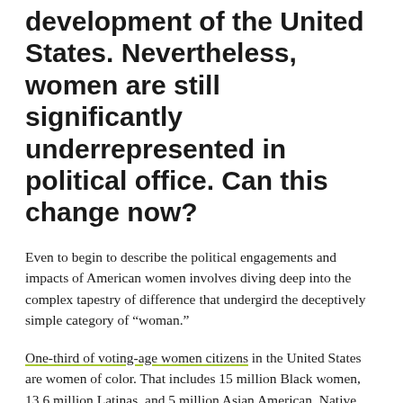development of the United States. Nevertheless, women are still significantly underrepresented in political office. Can this change now?
Even to begin to describe the political engagements and impacts of American women involves diving deep into the complex tapestry of difference that undergird the deceptively simple category of “woman.”
One-third of voting-age women citizens in the United States are women of color. That includes 15 million Black women, 13.6 million Latinas, and 5 million Asian American, Native Hawaiian, and Pacific Islander women combined. Each of these groups is